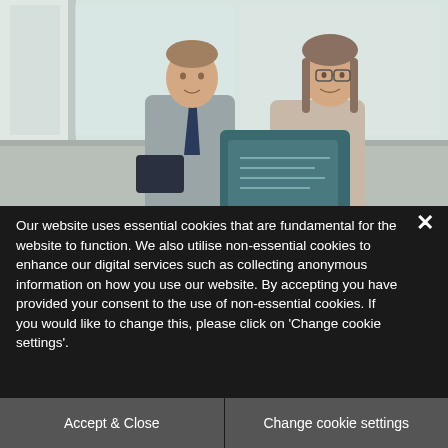[Figure (photo): Two professionals — a man in a grey shirt and tie, and a woman with glasses and long hair — standing indoors reviewing documents in a teal/dark blue folder together, in a bright windowed room.]
Our website uses essential cookies that are fundamental for the website to function. We also utilise non-essential cookies to enhance our digital services such as collecting anonymous information on how you use our website. By accepting you have provided your consent to the use of non-essential cookies. If you would like to change this, please click on 'Change cookie settings'.
Accept & Close
Change cookie settings